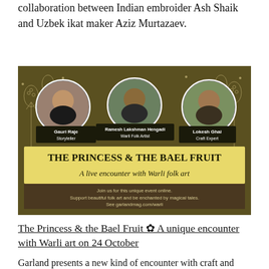collaboration between Indian embroider Ash Shaik and Uzbek ikat maker Aziz Murtazaev.
[Figure (illustration): Promotional banner for 'The Princess & the Bael Fruit – A live encounter with Warli folk art'. Dark olive/brown background with white Warli folk art patterns (trees, flowers, animals, houses). Three circular portrait photos at top: Gauri Raje (Storyteller), Ramesh Lakshman Hengadi (Warli Folk Artist), Lokesh Ghai (Craft Expert). Yellow banner text reading 'THE PRINCESS & THE BAEL FRUIT – A live encounter with Warli folk art'. Brown section with white text: 'Join us for this unique event online. Support beautiful folk art and be enchanted by magical tales. See garlandmag.com/warli'.]
The Princess & the Bael Fruit ✿ A unique encounter with Warli art on 24 October
Garland presents a new kind of encounter with craft and object-telling.